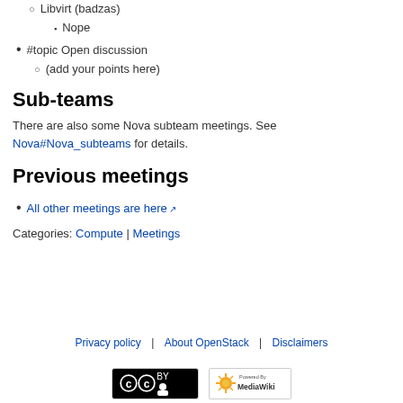Libvirt (badzas)
Nope
#topic Open discussion
(add your points here)
Sub-teams
There are also some Nova subteam meetings. See Nova#Nova_subteams for details.
Previous meetings
All other meetings are here
Categories: Compute | Meetings
Privacy policy | About OpenStack | Disclaimers